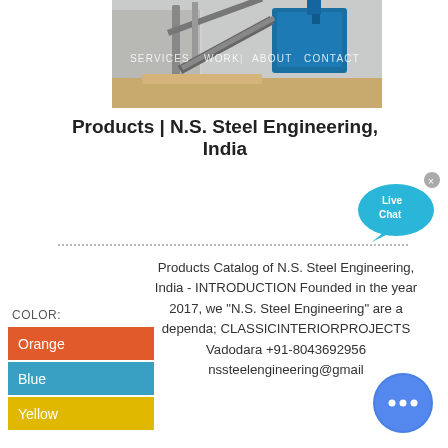[Figure (photo): Industrial facility with blue dust collector equipment and sandy ground, navigation bar overlay with SERVICES, WORK, ABOUT, CONTACT]
Products | N.S. Steel Engineering, India
[Figure (other): Live Chat speech bubble icon in cyan/teal color with close X button]
Products Catalog of N.S. Steel Engineering, India - INTRODUCTION Founded in the year 2017, we "N.S. Steel Engineering" are a dependa; CLASSICINTERIORPROJECTS Vadodara +91-8043692956 nssteelengineering@gmail
COLOR: Orange Blue Yellow
[Figure (other): Blue circular chat button with three dots in the bottom right corner]